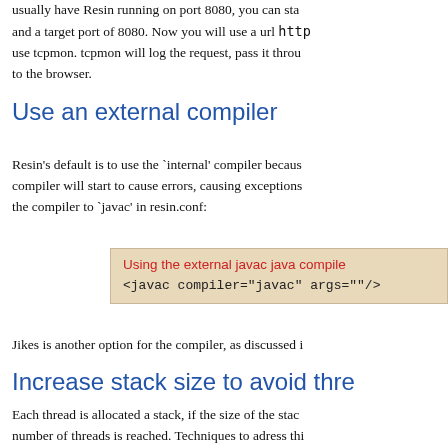usually have Resin running on port 8080, you can start and a target port of 8080. Now you will use a url http use tcpmon. tcpmon will log the request, pass it through to the browser.
Use an external compiler
Resin's default is to use the `internal' compiler because compiler will start to cause errors, causing exceptions the compiler to `javac' in resin.conf:
[Figure (other): Code box with title 'Using the external javac java compiler' and code: <javac compiler="javac" args=""/>]
Jikes is another option for the compiler, as discussed i
Increase stack size to avoid thre...
Each thread is allocated a stack, if the size of the stack number of threads is reached. Techniques to adress thi
Use netstat to obtain an OS leve...